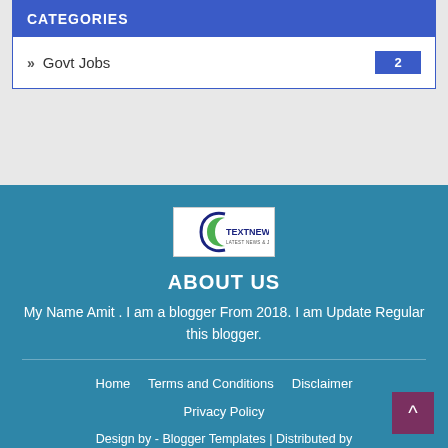CATEGORIES
Govt Jobs 2
[Figure (logo): TextNews1 logo — white background with green/blue arc and text TEXTNEWS1]
ABOUT US
My Name Amit . I am a blogger From 2018. I am Update Regular this blogger.
Home   Terms and Conditions   Disclaimer   Privacy Policy   Design by - Blogger Templates | Distributed by Textnews1.Com